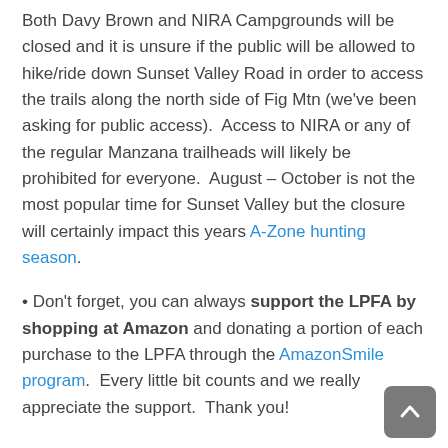Both Davy Brown and NIRA Campgrounds will be closed and it is unsure if the public will be allowed to hike/ride down Sunset Valley Road in order to access the trails along the north side of Fig Mtn (we've been asking for public access).  Access to NIRA or any of the regular Manzana trailheads will likely be prohibited for everyone.  August – October is not the most popular time for Sunset Valley but the closure will certainly impact this years A-Zone hunting season.
• Don't forget, you can always support the LPFA by shopping at Amazon and donating a portion of each purchase to the LPFA through the AmazonSmile program.  Every little bit counts and we really appreciate the support.  Thank you!